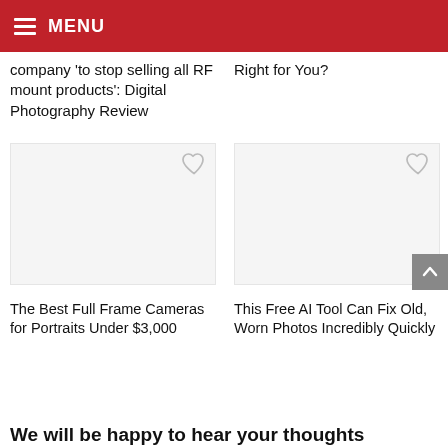MENU
company 'to stop selling all RF mount products': Digital Photography Review
Right for You?
[Figure (illustration): Card image placeholder with heart/favorite icon, left column]
[Figure (illustration): Card image placeholder with heart/favorite icon, right column]
The Best Full Frame Cameras for Portraits Under $3,000
This Free AI Tool Can Fix Old, Worn Photos Incredibly Quickly
We will be happy to hear your thoughts